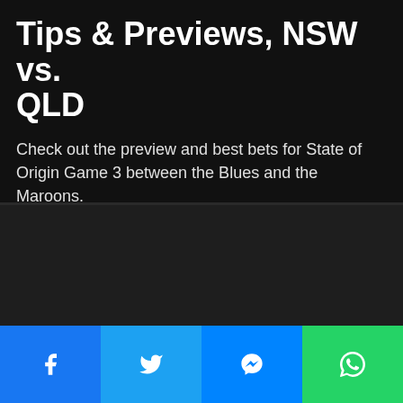Tips & Previews, NSW vs. QLD
Check out the preview and best bets for State of Origin Game 3 between the Blues and the Maroons.
• 14/07/2021   🔖 2 minutes read
[Figure (other): Dark/blank image area below the article header]
[Figure (other): Social share buttons bar: Facebook, Twitter, Messenger, WhatsApp]